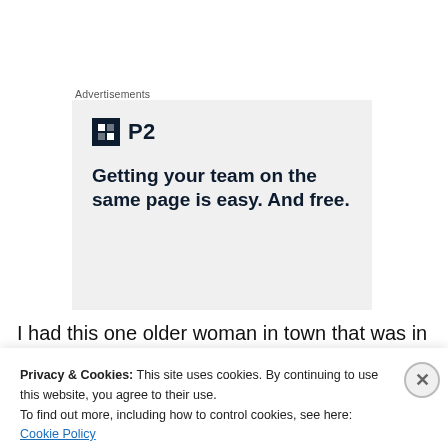Advertisements
[Figure (other): P2 advertisement banner: logo with black square icon and 'P2' text, headline reads 'Getting your team on the same page is easy. And free.']
I had this one older woman in town that was in a wheel chair and was independent, save for the fact, she couldn't
Privacy & Cookies: This site uses cookies. By continuing to use this website, you agree to their use.
To find out more, including how to control cookies, see here: Cookie Policy
Close and accept